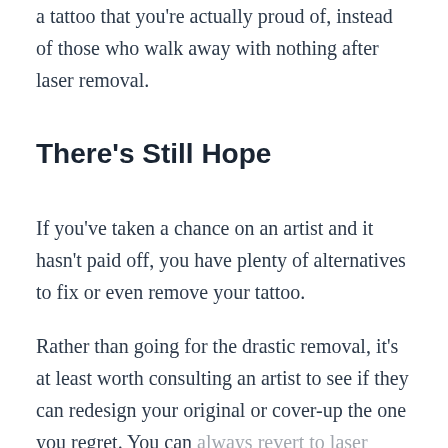a tattoo that you're actually proud of, instead of those who walk away with nothing after laser removal.
There's Still Hope
If you've taken a chance on an artist and it hasn't paid off, you have plenty of alternatives to fix or even remove your tattoo.
Rather than going for the drastic removal, it's at least worth consulting an artist to see if they can redesign your original or cover-up the one you regret. You can always revert to laser removal as a last resort.